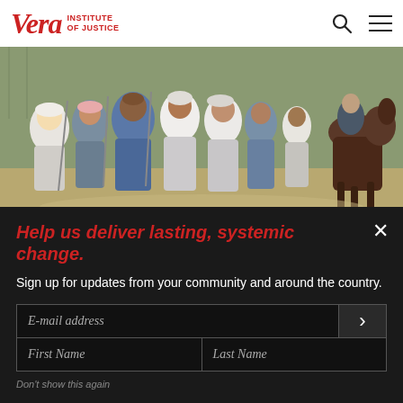Vera INSTITUTE OF JUSTICE
[Figure (photo): Group of people in casual clothing walking outdoors, with a person on horseback visible on the right, possibly a correctional facility setting with fencing in background]
Help us deliver lasting, systemic change.
Sign up for updates from your community and around the country.
E-mail address
First Name
Last Name
Don't show this again